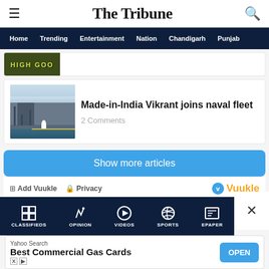The Tribune
Home  Trending  Entertainment  Nation  Chandigarh  Punjab
[Figure (photo): Partially visible article image with stylized text, cropped from top]
[Figure (photo): INS Vikrant aircraft carrier at dock with a person standing on the flight deck, sky with clouds in background]
Made-in-India Vikrant joins naval fleet
2 Comments
Show more articles
Add Vuukle  Privacy
Vuukle
CLASSIFIEDS  OPINION  VIDEOS  SPORTS  EPAPER
Yahoo Search
Best Commercial Gas Cards
OPEN